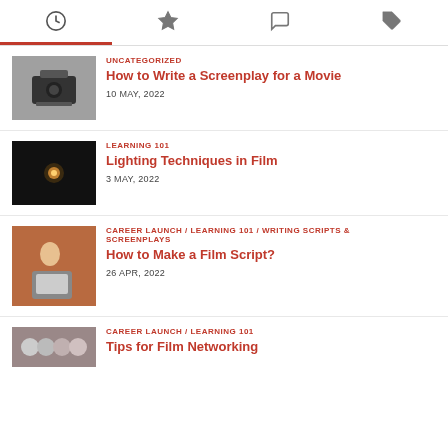[Figure (other): Navigation tab bar with clock, star, comment, and tag icons; clock tab active with red underline]
UNCATEGORIZED | How to Write a Screenplay for a Movie | 10 MAY, 2022
LEARNING 101 | Lighting Techniques in Film | 3 MAY, 2022
CAREER LAUNCH / LEARNING 101 / WRITING SCRIPTS & SCREENPLAYS | How to Make a Film Script? | 26 APR, 2022
CAREER LAUNCH / LEARNING 101 | Tips for Film Networking